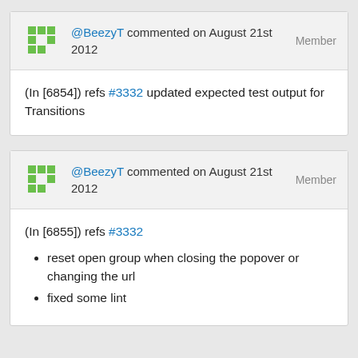[Figure (logo): Green pixel/checkered avatar logo for BeezyT]
@BeezyT commented on August 21st 2012  Member
(In [6854]) refs #3332 updated expected test output for Transitions
[Figure (logo): Green pixel/checkered avatar logo for BeezyT]
@BeezyT commented on August 21st 2012  Member
(In [6855]) refs #3332
reset open group when closing the popover or changing the url
fixed some lint